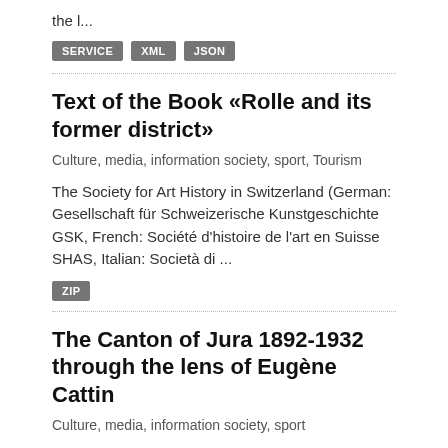the l...
SERVICE  XML  JSON
Text of the Book «Rolle and its former district»
Culture, media, information society, sport, Tourism
The Society for Art History in Switzerland (German: Gesellschaft für Schweizerische Kunstgeschichte GSK, French: Société d'histoire de l'art en Suisse SHAS, Italian: Società di ...
ZIP
The Canton of Jura 1892-1932 through the lens of Eugène Cattin
Culture, media, information society, sport
The archive of the Canton of Jura (Archives cantonales jurassiennes ArCJ), supported by Wikimedia CH, have uploaded their collection of works by the Swiss photographer Eugène Ca...